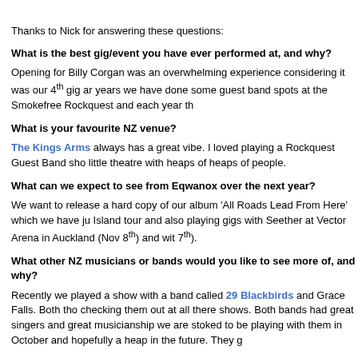Thanks to Nick for answering these questions:
What is the best gig/event you have ever performed at, and why?
Opening for Billy Corgan was an overwhelming experience considering it was our 4th gig and over the years we have done some guest band spots at the Smokefree Rockquest and each year th...
What is your favourite NZ venue?
The Kings Arms always has a great vibe. I loved playing a Rockquest Guest Band sho... little theatre with heaps of heaps of people.
What can we expect to see from Eqwanox over the next year?
We want to release a hard copy of our album 'All Roads Lead From Here' which we have ju... Island tour and also playing gigs with Seether at Vector Arena in Auckland (Nov 8th) and wit... 7th).
What other NZ musicians or bands would you like to see more of, and why?
Recently we played a show with a band called 29 Blackbirds and Grace Falls. Both tho... checking them out at all there shows. Both bands had great singers and great musicianship... we are stoked to be playing with them in October and hopefully a heap in the future. They g...
If you could, what rumour would you start about Eqwanox?
That we recorded our album at Dave Grohl's home studio and that we are going on tour wit...
What advice would you like to give to other aspiring musicians?